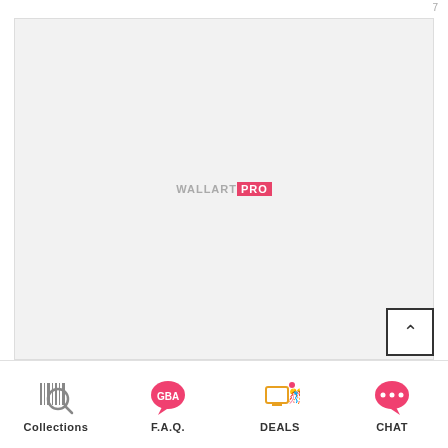[Figure (other): Large light gray placeholder image area with WALLART PRO watermark centered in it. A scroll-to-top button with an upward chevron arrow is overlaid at the bottom-right corner.]
Collections | F.A.Q. | DEALS | CHAT